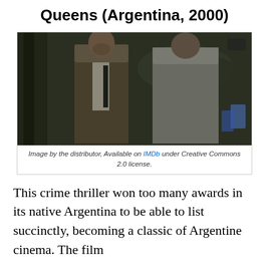Queens (Argentina, 2000)
[Figure (photo): Movie still showing two men facing each other outdoors in a crowd scene. Left figure wears a brown jacket with a dark tie; right figure wears a grey jacket, seen from behind.]
Image by the distributor, Available on IMDb under Creative Commons 2.0 license.
This crime thriller won too many awards in its native Argentina to be able to list succinctly, becoming a classic of Argentine cinema. The film